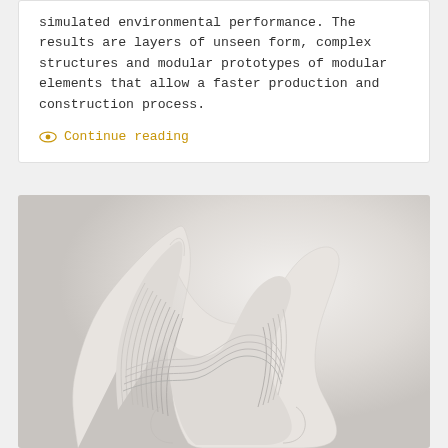simulated environmental performance. The results are layers of unseen form, complex structures and modular prototypes of modular elements that allow a faster production and construction process.
Continue reading
[Figure (photo): A white sculptural chair or furniture piece with layered, topographic contour lines on its surface, photographed against a light gray gradient background. The object is viewed from a rear-side angle revealing the layered texture.]